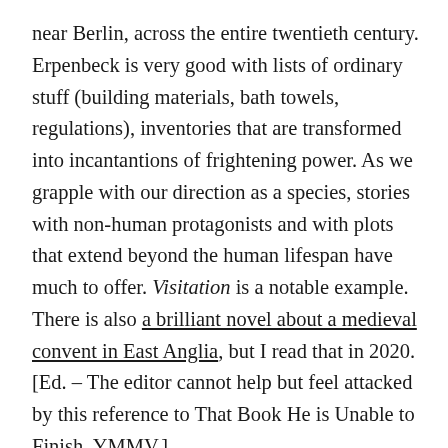near Berlin, across the entire twentieth century. Erpenbeck is very good with lists of ordinary stuff (building materials, bath towels, regulations), inventories that are transformed into incantantions of frightening power. As we grapple with our direction as a species, stories with non-human protagonists and with plots that extend beyond the human lifespan have much to offer. Visitation is a notable example. There is also a brilliant novel about a medieval convent in East Anglia, but I read that in 2020. [Ed. – The editor cannot help but feel attacked by this reference to That Book He is Unable to Finish. YMMV.]